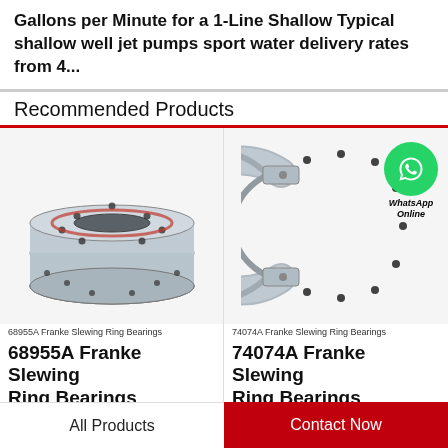Gallons per Minute for a 1-Line Shallow Typical shallow well jet pumps sport water delivery rates from 4...
Recommended Products
[Figure (photo): 68955A Franke Slewing Ring Bearing - circular flanged steel bearing ring]
68955A Franke Slewing Ring Bearings
68955A Franke Slewing Ring Bearings
[Figure (photo): 74074A Franke Slewing Ring Bearing - open C-shaped flanged steel bearing with WhatsApp Online button overlay]
74074A Franke Slewing Ring Bearings
74074A Franke Slewing Ring Bearings
All Products | Contact Now